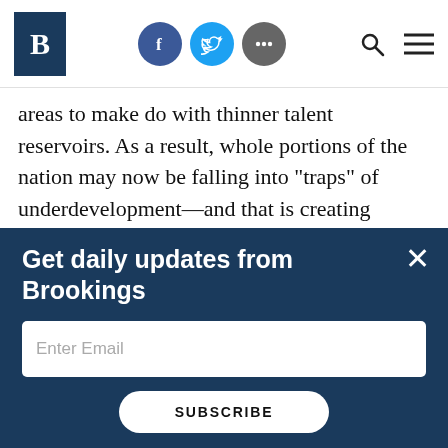Brookings Institution header with logo, social icons (Facebook, Twitter, More), search, and menu
areas to make do with thinner talent reservoirs. As a result, whole portions of the nation may now be falling into “traps” of underdevelopment—and that is creating baleful social impacts. Many Americans now reside far from the opportunities associated with the nation’s innovation centers, undercutting economic inclusion and raising social justice issues.
Get daily updates from Brookings